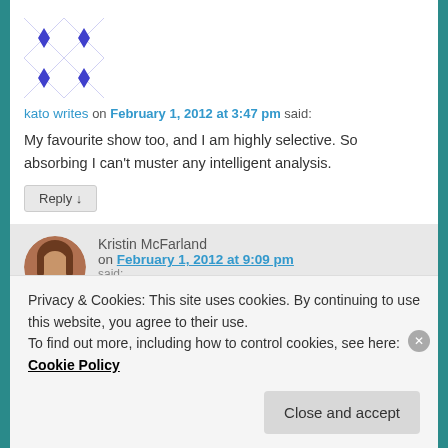[Figure (illustration): Blue and white geometric patterned avatar icon (quilt-like design with diamond shapes)]
kato writes on February 1, 2012 at 3:47 pm said:
My favourite show too, and I am highly selective. So absorbing I can't muster any intelligent analysis.
Reply ↓
[Figure (photo): Round avatar photo of Kristin McFarland, a woman with brown hair]
Kristin McFarland on February 1, 2012 at 9:09 pm said:
Privacy & Cookies: This site uses cookies. By continuing to use this website, you agree to their use.
To find out more, including how to control cookies, see here: Cookie Policy
Close and accept